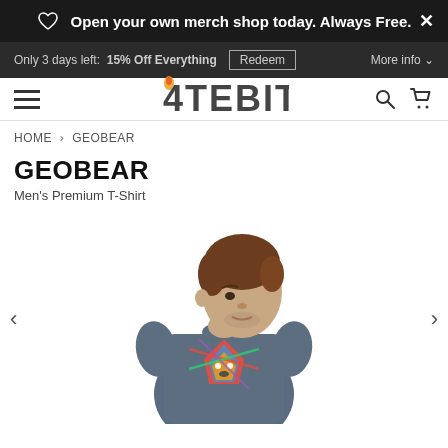Open your own merch shop today. Always Free.
Only 3 days left:  15% Off Everything  Redeem  More info
4TEBIT
HOME > GEOBEAR
GEOBEAR
Men's Premium T-Shirt
[Figure (photo): Man wearing a navy blue t-shirt with a colorful geometric bear design on the front, looking to the right. Navigation arrows on left and right sides.]